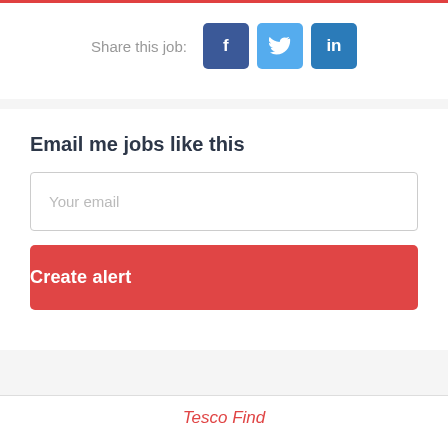Share this job:
[Figure (infographic): Social share buttons: Facebook (f), Twitter (bird icon), LinkedIn (in)]
Email me jobs like this
Your email
Create alert
Tesco Find